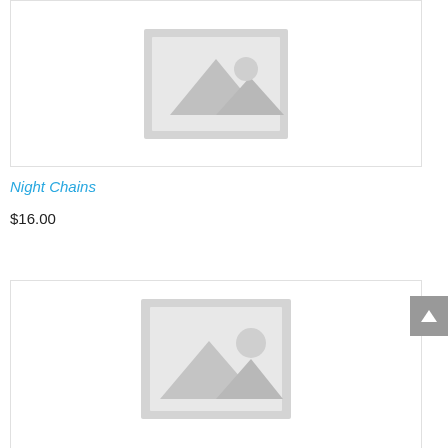[Figure (illustration): Product placeholder image placeholder — grey image icon with mountain silhouette, top product card]
Night Chains
$16.00
[Figure (illustration): Product placeholder image — grey image icon with mountain silhouette, bottom product card]